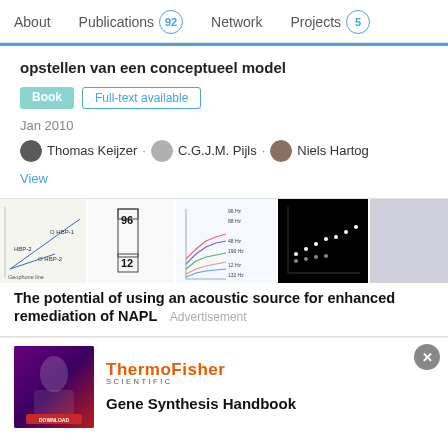About | Publications 92 | Network | Projects 5
opstellen van een conceptueel model
Book   Full-text available
Jan 2010
Thomas Keijzer · C.G.J.M. Pijls · Niels Hartog
View
[Figure (other): Thumbnail images of figures from a scientific publication on acoustic source for NAPL remediation]
The potential of using an acoustic source for enhanced remediation of NAPL
Advertisement
[Figure (other): ThermoFisher Scientific advertisement banner with Gene Synthesis Handbook]
Gene Synthesis Handbook